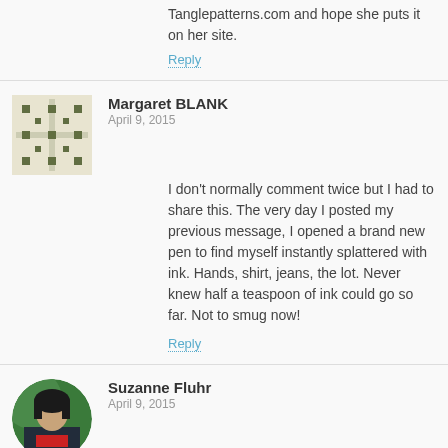Tanglepatterns.com and hope she puts it on her site.
Reply
Margaret BLANK
April 9, 2015
I don't normally comment twice but I had to share this. The very day I posted my previous message, I opened a brand new pen to find myself instantly splattered with ink. Hands, shirt, jeans, the lot. Never knew half a teaspoon of ink could go so far. Not to smug now!
Reply
Suzanne Fluhr
April 9, 2015
Ha! Thanks for coming clean—-as it were. 😉
Reply
Holly Beaster
April 9, 2015
I love the shape of your tangle. Nice roundness, it looks